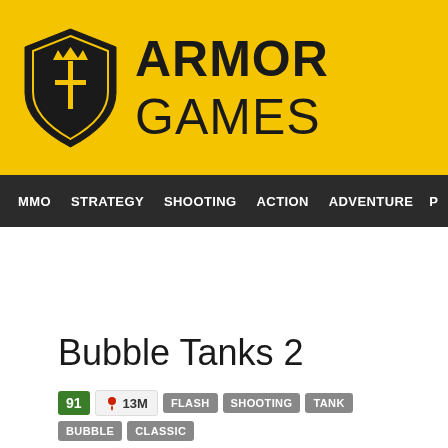ARMOR GAMES
MMO  STRATEGY  SHOOTING  ACTION  ADVENTURE  P
Bubble Tanks 2
91  13M  FLASH  SHOOTING  TANK  BUBBLE  CLASSIC